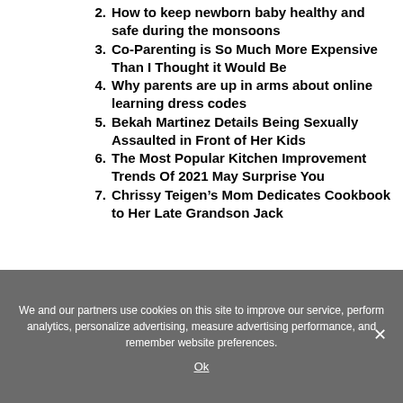2. How to keep newborn baby healthy and safe during the monsoons
3. Co-Parenting is So Much More Expensive Than I Thought it Would Be
4. Why parents are up in arms about online learning dress codes
5. Bekah Martinez Details Being Sexually Assaulted in Front of Her Kids
6. The Most Popular Kitchen Improvement Trends Of 2021 May Surprise You
7. Chrissy Teigen’s Mom Dedicates Cookbook to Her Late Grandson Jack
We and our partners use cookies on this site to improve our service, perform analytics, personalize advertising, measure advertising performance, and remember website preferences.
Ok